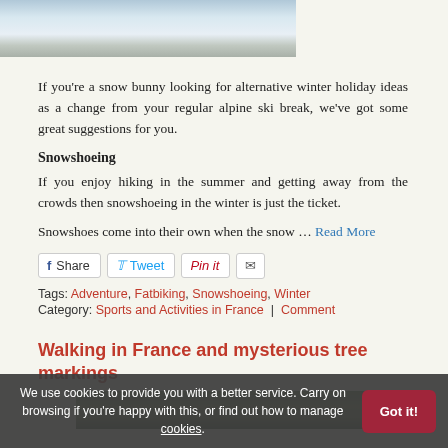[Figure (photo): Top portion of a snowy alpine scene with mountains and people in winter gear]
If you're a snow bunny looking for alternative winter holiday ideas as a change from your regular alpine ski break, we've got some great suggestions for you.
Snowshoeing
If you enjoy hiking in the summer and getting away from the crowds then snowshoeing in the winter is just the ticket.
Snowshoes come into their own when the snow … Read More
[Figure (infographic): Social sharing buttons: Share (Facebook), Tweet (Twitter), Pin it (Pinterest), Email]
Tags: Adventure, Fatbiking, Snowshoeing, Winter
Category: Sports and Activities in France | Comment
Walking in France and mysterious tree markings
[Figure (photo): Bottom photo showing a forest scene with trees]
We use cookies to provide you with a better service. Carry on browsing if you're happy with this, or find out how to manage cookies.